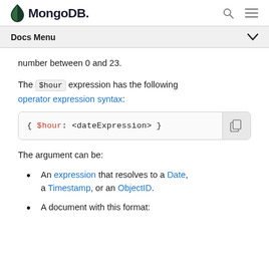MongoDB — Docs Menu
number between 0 and 23.
The $hour expression has the following operator expression syntax:
[Figure (screenshot): Code block showing: { $hour: <dateExpression> }]
The argument can be:
An expression that resolves to a Date, a Timestamp, or an ObjectID.
A document with this format: